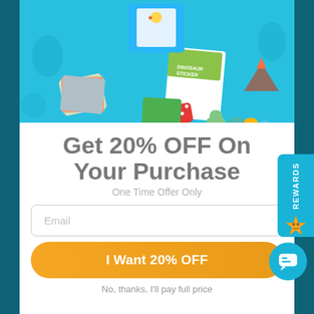[Figure (photo): Dinosaur themed kids activity kit with craft supplies, sticker books, puzzles and colorful paper spread out on a light blue background]
Get 20% OFF On Your Purchase
One Time Offer Only
Email
I Want 20% OFF
No, thanks, I'll pay full price